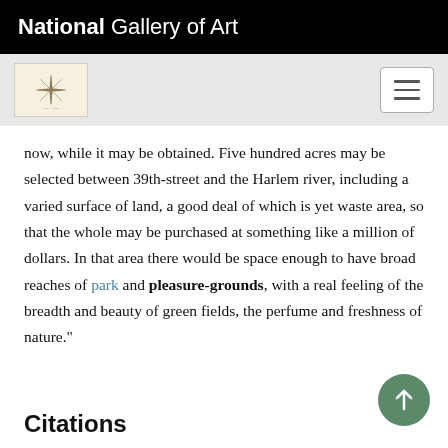National Gallery of Art
[Figure (logo): Art & Anon decorative logo icon with compass-like star design on cream background]
now, while it may be obtained. Five hundred acres may be selected between 39th-street and the Harlem river, including a varied surface of land, a good deal of which is yet waste area, so that the whole may be purchased at something like a million of dollars. In that area there would be space enough to have broad reaches of park and pleasure-grounds, with a real feeling of the breadth and beauty of green fields, the perfume and freshness of nature."
Citations